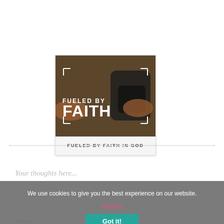[Figure (illustration): Card with photo showing hands operating a fuel pump nozzle. Text overlay reads 'FUELED BY FAITH' in white bold letters with corner bracket decorations.]
FUELED BY FAITH IN GOD
Your thoughts here...
We use cookies to give you the best experience on our website.
Privacy
Got it!
Adrene
January 17, 2015 at 10:01 - 8pm
Well said Sarah. Very proud of the Junior